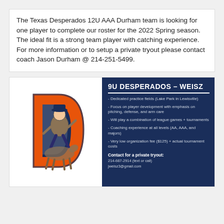The Texas Desperados 12U AAA Durham team is looking for one player to complete our roster for the 2022 Spring season. The ideal fit is a strong team player with catching experience. For more information or to setup a private tryout please contact coach Jason Durham @ 214-251-5499.
[Figure (infographic): Texas Desperados baseball team logo on left (orange letter D with cowboy mascot in navy/orange/white), and on the right a navy blue info panel for 9U Desperados - Weisz listing bullet points: dedicated practice fields (Lake Park in Lewisville), focus on player development with emphasis on pitching, defense, and arm care, will play a combination of league games + tournaments, coaching experience at all levels (AA, AAA, and majors), very low organization fee ($125) + actual tournament costs. Contact for a private tryout: 214-687-2914 (text or call) jweisz3@gmail.com]